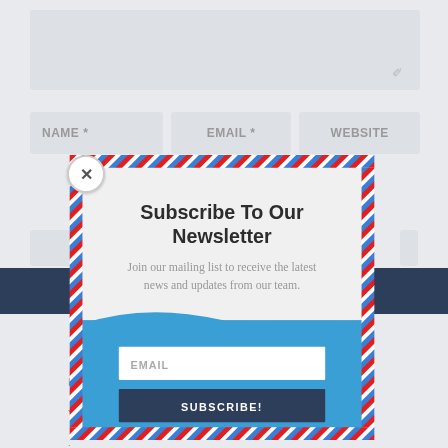[Figure (screenshot): Background web page with form fields: NAME*, EMAIL*, WEBSITE inputs and a dark submit button]
[Figure (infographic): Newsletter subscription popup modal with airmail-style red/blue dashed border, close button (X), title 'Subscribe To Our Newsletter', subtitle text, blue envelope illustration, email input field, and SUBSCRIBE! button]
Subscribe To Our Newsletter
Join our mailing list to receive the latest news and updates from our team.
EMAIL
SUBSCRIBE!